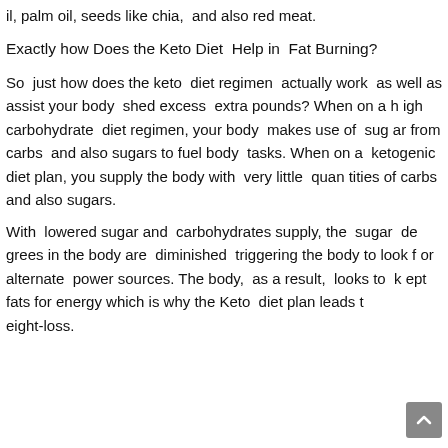il, palm oil, seeds like chia,  and also red meat.
Exactly how Does the Keto Diet  Help in  Fat Burning?
So  just how does the keto  diet regimen  actually work  as well as  assist your body  shed excess  extra pounds? When on a high  carbohydrate  diet regimen, your body  makes use of  sugar from  carbs  and also sugars to fuel body  tasks. When on a  ketogenic  diet plan, you supply the body with  very little  quantities of carbs  and also sugars.
With  lowered sugar and  carbohydrates supply, the  sugar degrees in the body are  diminished  triggering the body to look for  alternate  power sources. The body,  as a result,  looks to  kept fats for energy which is why the Keto  diet plan leads to weight-loss.